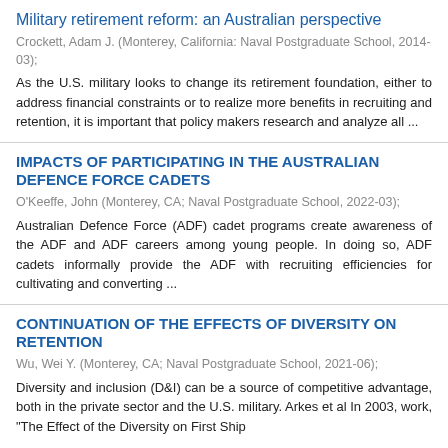Military retirement reform: an Australian perspective
Crockett, Adam J. (Monterey, California: Naval Postgraduate School, 2014-03);
As the U.S. military looks to change its retirement foundation, either to address financial constraints or to realize more benefits in recruiting and retention, it is important that policy makers research and analyze all ...
IMPACTS OF PARTICIPATING IN THE AUSTRALIAN DEFENCE FORCE CADETS
O'Keeffe, John (Monterey, CA; Naval Postgraduate School, 2022-03);
Australian Defence Force (ADF) cadet programs create awareness of the ADF and ADF careers among young people. In doing so, ADF cadets informally provide the ADF with recruiting efficiencies for cultivating and converting ...
CONTINUATION OF THE EFFECTS OF DIVERSITY ON RETENTION
Wu, Wei Y. (Monterey, CA; Naval Postgraduate School, 2021-06);
Diversity and inclusion (D&I) can be a source of competitive advantage, both in the private sector and the U.S. military. Arkes et al In 2003, work, "The Effect of the Diversity on First Ship